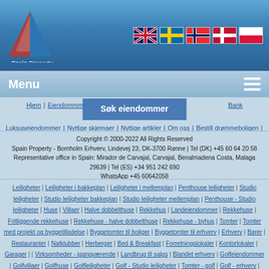[Figure (logo): Spain Property logo with red/blue triangle and text]
[Figure (illustration): Five country flag icons: UK, Sweden, Norway, Denmark, Poland]
Menu
Hjem | Eiendommmer til | Søk eiendommer | Bank tvangsauksjoner | Luksuseiendommer | Nyttige skjemaer | Nyttige artikler | Om oss | Bestill drømmeboligen | Søk eiendommer
Copyright © 2000-2022 All Rights Reserved
Spain Property - Bornholm Erhverv, Lindevej 23, DK-3700 Rønne | Tel (DK) +45 60 64 20 58
Representative office in Spain: Mirador de Carvajal, Carvajal, Benalmadena Costa, Malaga 29639 | Tel (ES) +34 951 242 690
WhatsApp +45 60642058
Leiligheter | Leiligheter i bakkeplan | Leiligheter i mellemplan | Penthouse leiligheter | Studio leiligheter | Studio leiligheter bakkeplan | Studio leiligheter mellemplan | Penthouse - Studio leiligheter | Huse | Villaer | Halve dobbelthuse | Rekkehus | Landeiendommer | Rekkehuse | Fritliggende rekkehuse | Rekkehuse - halve dobbelthuse | Rekkehuse - byhus | Tomter | Tomter med projekt og byggetilladelse | Byggetomter til boliger | Byggetomter til erhverv | Erhverv | Barer | Restauranter | Natklubber | Herberger | Bed & Breakfast | Forretningslokaler | Kontorlokaler | Garager | | Virksomheder - igangværende | Landbrug til salgs | Blandet erhverv | Golfeiendommer | Golfvillaer | Golfhuse | Golfleiligheter | Golf - Studio leiligheter | Tomter - golf | Golf - erhverv | Estepona | Marbella | Nueva Andalucia | Puerto Banus | Calahonda | Riviera Del Sol | Fuengirola | El Campello | Elviria | San Pedro De Alcantara |